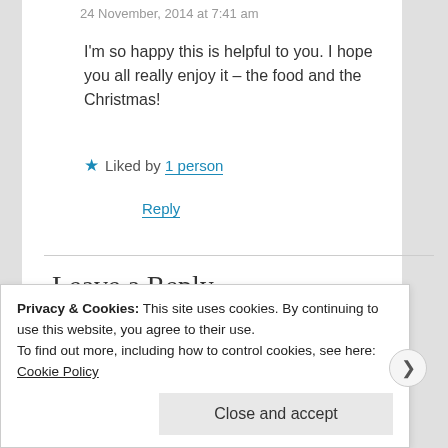24 November, 2014 at 7:41 am
I'm so happy this is helpful to you. I hope you all really enjoy it – the food and the Christmas!
Liked by 1 person
Reply
Leave a Reply
Your email address will not be published. Required fields are marked *
Privacy & Cookies: This site uses cookies. By continuing to use this website, you agree to their use.
To find out more, including how to control cookies, see here: Cookie Policy
Close and accept